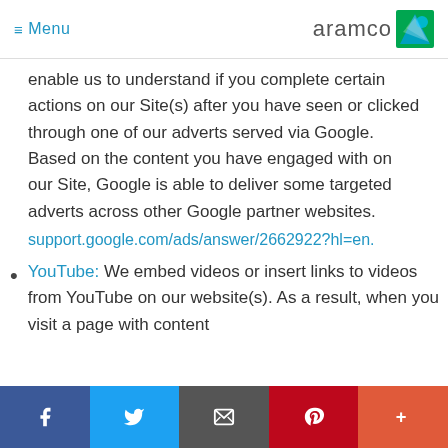≡ Menu | aramco logo
enable us to understand if you complete certain actions on our Site(s) after you have seen or clicked through one of our adverts served via Google. Based on the content you have engaged with on our Site, Google is able to deliver some targeted adverts across other Google partner websites.
support.google.com/ads/answer/2662922?hl=en.
YouTube: We embed videos or insert links to videos from YouTube on our website(s). As a result, when you visit a page with content